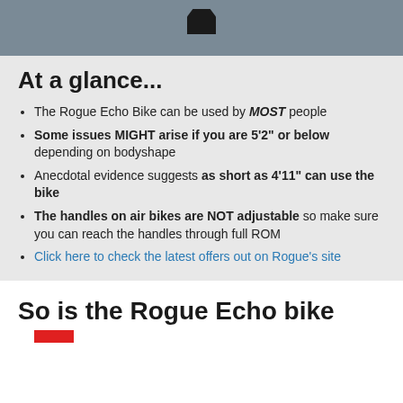[Figure (photo): Top photo strip showing a dark object against a gray textured surface]
At a glance...
The Rogue Echo Bike can be used by MOST people
Some issues MIGHT arise if you are 5'2" or below depending on bodyshape
Anecdotal evidence suggests as short as 4'11" can use the bike
The handles on air bikes are NOT adjustable so make sure you can reach the handles through full ROM
Click here to check the latest offers out on Rogue's site
So is the Rogue Echo bike